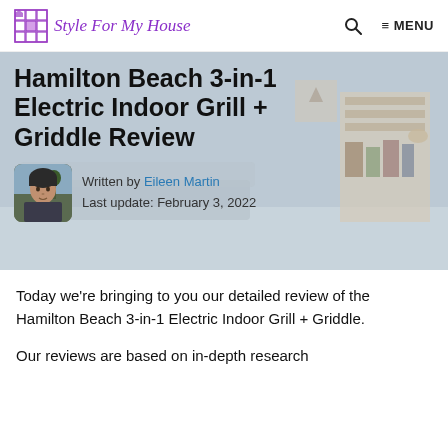Style For My House
Hamilton Beach 3-in-1 Electric Indoor Grill + Griddle Review
Written by Eileen Martin
Last update: February 3, 2022
Today we're bringing to you our detailed review of the Hamilton Beach 3-in-1 Electric Indoor Grill + Griddle.
Our reviews are based on in-depth research